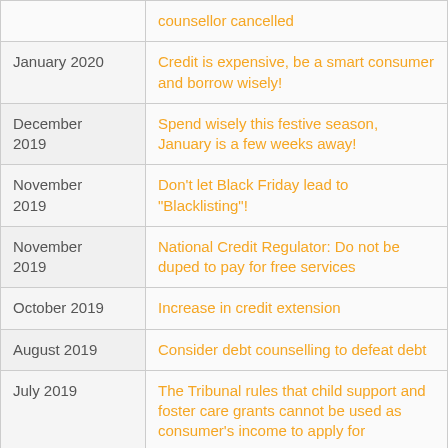| Date | Topic |
| --- | --- |
|  | counsellor cancelled |
| January 2020 | Credit is expensive, be a smart consumer and borrow wisely! |
| December 2019 | Spend wisely this festive season, January is a few weeks away! |
| November 2019 | Don't let Black Friday lead to "Blacklisting"! |
| November 2019 | National Credit Regulator: Do not be duped to pay for free services |
| October 2019 | Increase in credit extension |
| August 2019 | Consider debt counselling to defeat debt |
| July 2019 | The Tribunal rules that child support and foster care grants cannot be used as consumer's income to apply for |